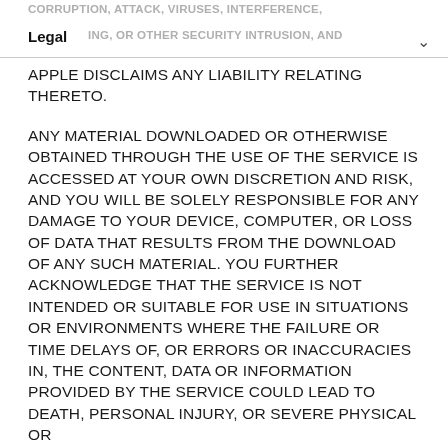CORRUPTION, ATTACK, VIRUSES, INTERFERENCE, Legal ING, OR OTHER SECURITY INTRUSION, AND APPLE DISCLAIMS ANY LIABILITY RELATING THERETO.
APPLE DISCLAIMS ANY LIABILITY RELATING THERETO.
ANY MATERIAL DOWNLOADED OR OTHERWISE OBTAINED THROUGH THE USE OF THE SERVICE IS ACCESSED AT YOUR OWN DISCRETION AND RISK, AND YOU WILL BE SOLELY RESPONSIBLE FOR ANY DAMAGE TO YOUR DEVICE, COMPUTER, OR LOSS OF DATA THAT RESULTS FROM THE DOWNLOAD OF ANY SUCH MATERIAL. YOU FURTHER ACKNOWLEDGE THAT THE SERVICE IS NOT INTENDED OR SUITABLE FOR USE IN SITUATIONS OR ENVIRONMENTS WHERE THE FAILURE OR TIME DELAYS OF, OR ERRORS OR INACCURACIES IN, THE CONTENT, DATA OR INFORMATION PROVIDED BY THE SERVICE COULD LEAD TO DEATH, PERSONAL INJURY, OR SEVERE PHYSICAL OR